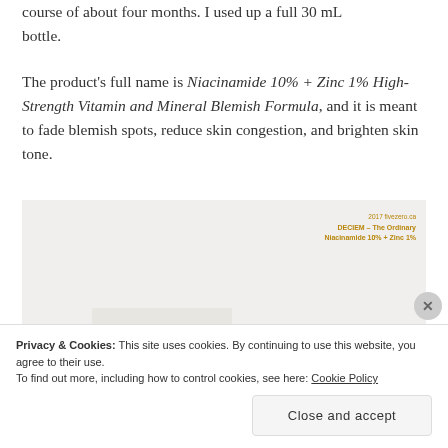course of about four months. I used up a full 30 mL bottle.
The product's full name is Niacinamide 10% + Zinc 1% High-Strength Vitamin and Mineral Blemish Formula, and it is meant to fade blemish spots, reduce skin congestion, and brighten skin tone.
[Figure (photo): Photo of The Ordinary Niacinamide 10% + Zinc 1% product box with label reading 'Clinical Formulations with Integrity'. Overlay text in gold/brown reads: '2017 fivezero.ca / DECIEM – The Ordinary / Niacinamide 10% + Zinc 1%']
Privacy & Cookies: This site uses cookies. By continuing to use this website, you agree to their use.
To find out more, including how to control cookies, see here: Cookie Policy
Close and accept